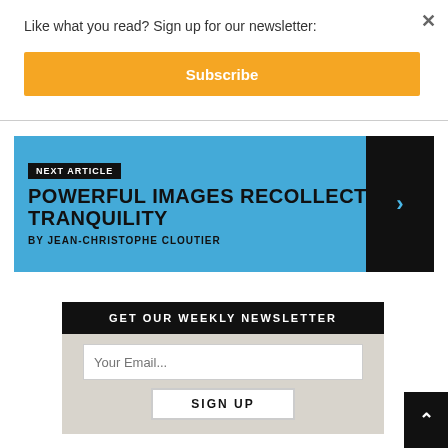Like what you read? Sign up for our newsletter:
Subscribe
NEXT ARTICLE
POWERFUL IMAGES RECOLLECTED IN TRANQUILITY
BY JEAN-CHRISTOPHE CLOUTIER
GET OUR WEEKLY NEWSLETTER
Your Email...
SIGN UP